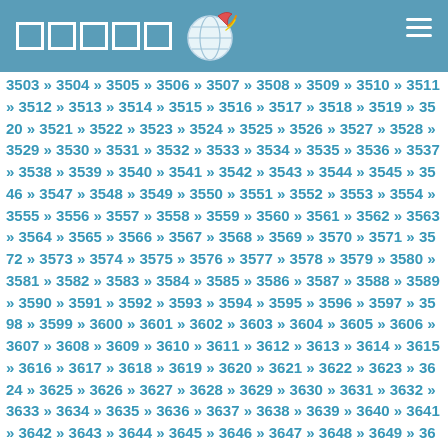Navigation header with logo and menu icon
3503 » 3504 » 3505 » 3506 » 3507 » 3508 » 3509 » 3510 » 3511 » 3512 » 3513 » 3514 » 3515 » 3516 » 3517 » 3518 » 3519 » 3520 » 3521 » 3522 » 3523 » 3524 » 3525 » 3526 » 3527 » 3528 » 3529 » 3530 » 3531 » 3532 » 3533 » 3534 » 3535 » 3536 » 3537 » 3538 » 3539 » 3540 » 3541 » 3542 » 3543 » 3544 » 3545 » 3546 » 3547 » 3548 » 3549 » 3550 » 3551 » 3552 » 3553 » 3554 » 3555 » 3556 » 3557 » 3558 » 3559 » 3560 » 3561 » 3562 » 3563 » 3564 » 3565 » 3566 » 3567 » 3568 » 3569 » 3570 » 3571 » 3572 » 3573 » 3574 » 3575 » 3576 » 3577 » 3578 » 3579 » 3580 » 3581 » 3582 » 3583 » 3584 » 3585 » 3586 » 3587 » 3588 » 3589 » 3590 » 3591 » 3592 » 3593 » 3594 » 3595 » 3596 » 3597 » 3598 » 3599 » 3600 » 3601 » 3602 » 3603 » 3604 » 3605 » 3606 » 3607 » 3608 » 3609 » 3610 » 3611 » 3612 » 3613 » 3614 » 3615 » 3616 » 3617 » 3618 » 3619 » 3620 » 3621 » 3622 » 3623 » 3624 » 3625 » 3626 » 3627 » 3628 » 3629 » 3630 » 3631 » 3632 » 3633 » 3634 » 3635 » 3636 » 3637 » 3638 » 3639 » 3640 » 3641 » 3642 » 3643 » 3644 » 3645 » 3646 » 3647 » 3648 » 3649 » 3650 » 3651 » 3652 » 3653 » 3654 » 3655 » 3656 » 3657 » 3658 » 3659 » 3660 » 3661 » 3662 » 3663 » 3664 » 3665 » 3666 » 3667 » 3668 » 3669 » 3670 » 3671 » 3672 » 3673 » 3674 » 3675 » 3676 » 3677 » 3678 » 3679 » 3680 » 3681 » 3682 » 3683 » 3684 » 3685 » 3686 » 3687 » 3688 » 3689 » 3690 » 3691